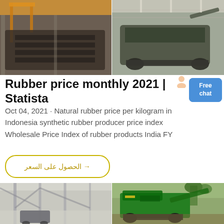[Figure (photo): Two industrial factory/warehouse photos side by side showing heavy machinery and rubber processing equipment with orange crane structure on left and large machinery on right]
Rubber price monthly 2021 | Statista
[Figure (photo): Small avatar icon of a person next to the Statista heading]
[Figure (other): Blue rounded rectangle button with white text reading 'Free chat']
Oct 04, 2021 · Natural rubber price per kilogram in Indonesia synthetic rubber producer price index Wholesale Price Index of rubber products India FY
الحصول على السعر → (Arabic text with arrow, inside yellow-bordered pill button meaning 'Get the price')
[Figure (photo): Two photos at the bottom: left shows interior of a large warehouse/factory with steel trusses and vehicles; right shows green industrial mobile crushing/screening equipment outdoors]